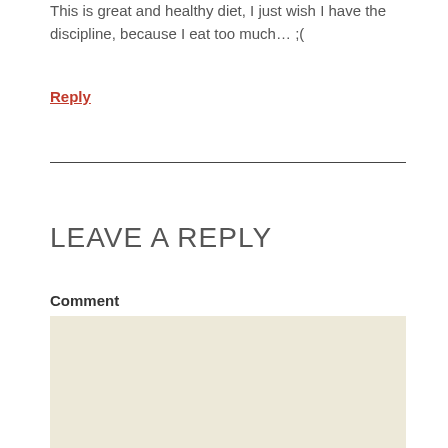This is great and healthy diet, I just wish I have the discipline, because I eat too much… ;(
Reply
LEAVE A REPLY
Comment
[Figure (other): Empty comment text area input box with beige/cream background color]